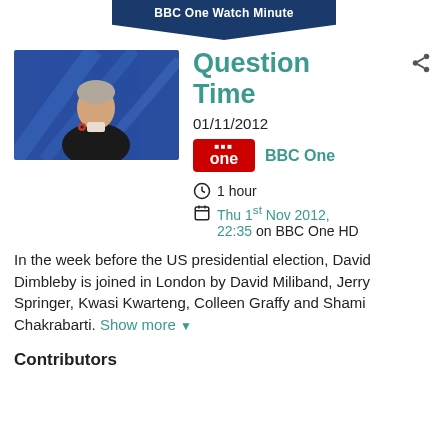BBC One Watch Minute
[Figure (photo): Photo of David Dimbleby seated at the Question Time desk, wearing a dark suit, with a poppy on his lapel, against a blue geometric studio background.]
Question Time
01/11/2012
BBC One
1 hour
Thu 1st Nov 2012, 22:35 on BBC One HD
In the week before the US presidential election, David Dimbleby is joined in London by David Miliband, Jerry Springer, Kwasi Kwarteng, Colleen Graffy and Shami Chakrabarti. Show more ▼
Contributors